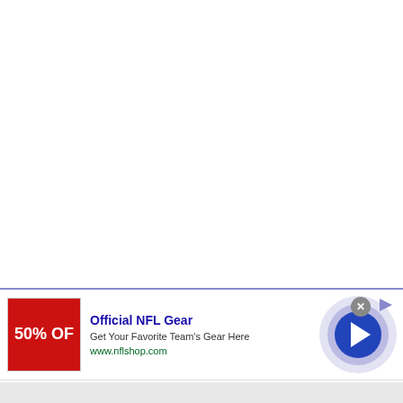[Figure (screenshot): Web page with a banner advertisement at the bottom. The top portion is white/blank content area. The ad features: a red image with '50% OFF' text on the left, ad text in the middle reading 'Official NFL Gear', 'Get Your Favorite Team's Gear Here', 'www.nflshop.com', and a circular arrow button on the right. A close (X) button appears at the top right of the ad. A blue/purple separator line divides the content from the ad.]